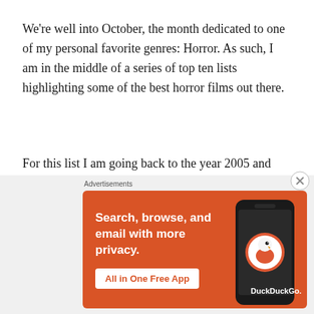We're well into October, the month dedicated to one of my personal favorite genres: Horror. As such, I am in the middle of a series of top ten lists highlighting some of the best horror films out there.
For this list I am going back to the year 2005 and recounting the single best horror film from each year of the past decade.
Advertisements
[Figure (infographic): DuckDuckGo advertisement banner with orange background. Text reads: Search, browse, and email with more privacy. All in One Free App. Shows a smartphone on the right side with the DuckDuckGo duck logo.]